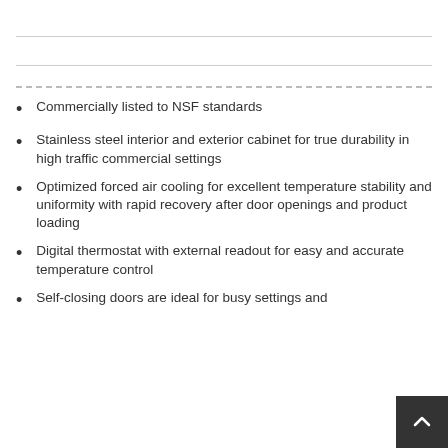Commercially listed to NSF standards
Stainless steel interior and exterior cabinet for true durability in high traffic commercial settings
Optimized forced air cooling for excellent temperature stability and uniformity with rapid recovery after door openings and product loading
Digital thermostat with external readout for easy and accurate temperature control
Self-closing doors are ideal for busy settings and